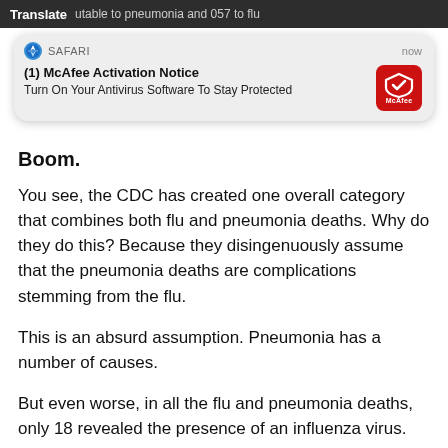[Figure (screenshot): Partial browser top bar with text visible: 'Translate' and partial text about pneumonia and 057 flu]
[Figure (screenshot): Safari push notification popup: '(1) McAfee Activation Notice' - 'Turn On Your Antivirus Software To Stay Protected', with McAfee red icon, time shown as 'now']
Boom.
You see, the CDC has created one overall category that combines both flu and pneumonia deaths. Why do they do this? Because they disingenuously assume that the pneumonia deaths are complications stemming from the flu.
This is an absurd assumption. Pneumonia has a number of causes.
But even worse, in all the flu and pneumonia deaths, only 18 revealed the presence of an influenza virus.
Therefore, the CDC could not say, with assurance, that more than 18 people died of influenza in 2001. Not